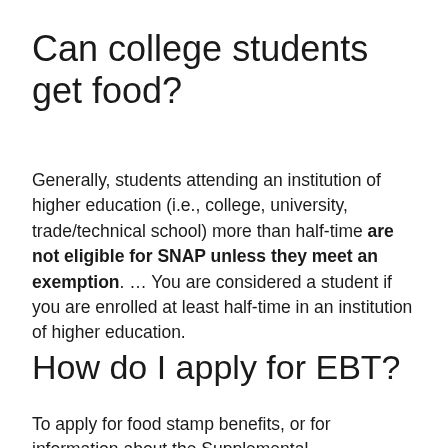Can college students get food?
Generally, students attending an institution of higher education (i.e., college, university, trade/technical school) more than half-time are not eligible for SNAP unless they meet an exemption. … You are considered a student if you are enrolled at least half-time in an institution of higher education.
How do I apply for EBT?
To apply for food stamp benefits, or for information about the Supplemental